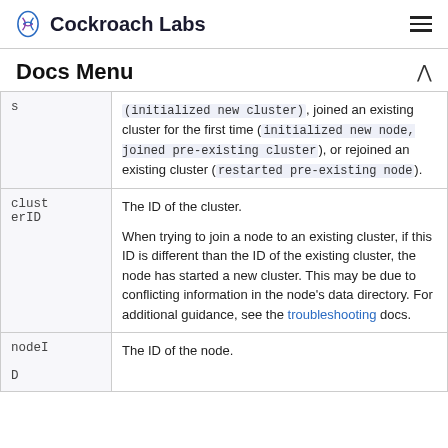Cockroach Labs
Docs Menu
| Field | Description |
| --- | --- |
| s | (initialized new cluster), joined an existing cluster for the first time (initialized new node, joined pre-existing cluster), or rejoined an existing cluster (restarted pre-existing node). |
| clusterID | The ID of the cluster.

When trying to join a node to an existing cluster, if this ID is different than the ID of the existing cluster, the node has started a new cluster. This may be due to conflicting information in the node's data directory. For additional guidance, see the troubleshooting docs. |
| nodeID | The ID of the node. |